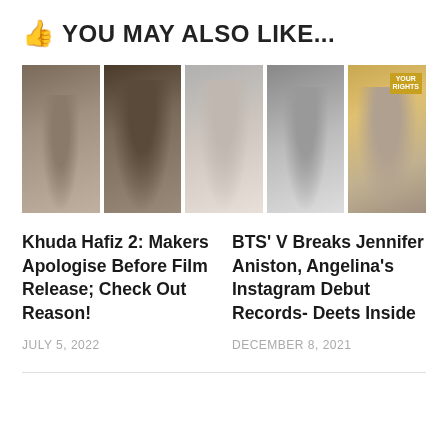YOU MAY ALSO LIKE...
[Figure (photo): A row of five celebrity photos: a bearded man, a couple embracing, a blonde woman, a person with flowers, and a woman sitting]
Khuda Hafiz 2: Makers Apologise Before Film Release; Check Out Reason!
JULY 5, 2022
BTS' V Breaks Jennifer Aniston, Angelina's Instagram Debut Records- Deets Inside
DECEMBER 8, 2021